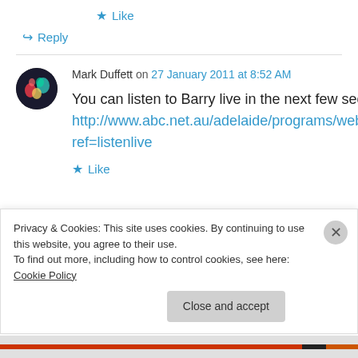★ Like
↪ Reply
Mark Duffett on 27 January 2011 at 8:52 AM
You can listen to Barry live in the next few seconds at http://www.abc.net.au/adelaide/programs/webcam_radio.htm?ref=listenlive
★ Like
Privacy & Cookies: This site uses cookies. By continuing to use this website, you agree to their use. To find out more, including how to control cookies, see here: Cookie Policy
Close and accept